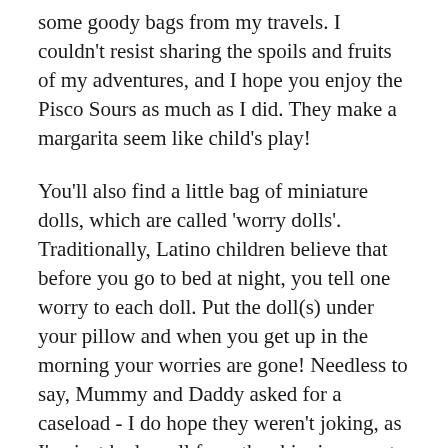some goody bags from my travels. I couldn't resist sharing the spoils and fruits of my adventures, and I hope you enjoy the Pisco Sours as much as I did. They make a margarita seem like child's play!
You'll also find a little bag of miniature dolls, which are called 'worry dolls'. Traditionally, Latino children believe that before you go to bed at night, you tell one worry to each doll. Put the doll(s) under your pillow and when you get up in the morning your worries are gone! Needless to say, Mummy and Daddy asked for a caseload - I do hope they weren't joking, as I've just had a call from the shipping agent to say they're clearing customs, but the sniffer dogs are going beserk there!